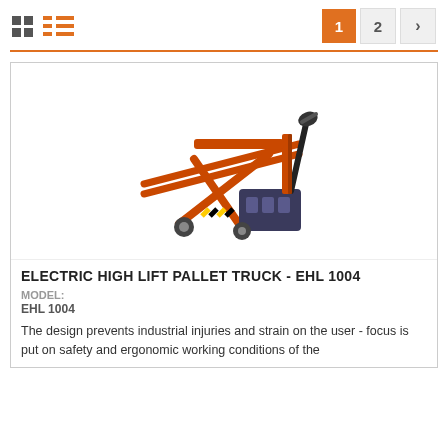[Figure (screenshot): Navigation bar with grid/list view icons on the left and pagination (1, 2, >) on the right with page 1 active in orange]
[Figure (photo): Orange electric high lift pallet truck (EHL 1004) shown at an angle, with scissor-lift mechanism and tiller arm handle]
ELECTRIC HIGH LIFT PALLET TRUCK - EHL 1004
MODEL:
EHL 1004
The design prevents industrial injuries and strain on the user - focus is put on safety and ergonomic working conditions of the